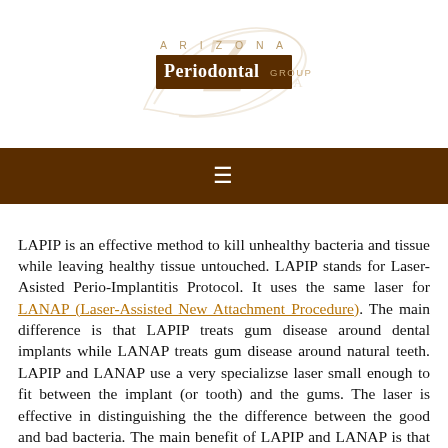[Figure (logo): Arizona Periodontal Group logo with stylized AZ letterform in gold/tan and brown rectangular badge with 'Periodontal Group' text]
≡
LAPIP is an effective method to kill unhealthy bacteria and tissue while leaving healthy tissue untouched. LAPIP stands for Laser-Asisted Perio-Implantitis Protocol. It uses the same laser for LANAP (Laser-Assisted New Attachment Procedure). The main difference is that LAPIP treats gum disease around dental implants while LANAP treats gum disease around natural teeth. LAPIP and LANAP use a very specializse laser small enough to fit between the implant (or tooth) and the gums. The laser is effective in distinguishing the the difference between the good and bad bacteria. The main benefit of LAPIP and LANAP is that there is no cutting or sutures, and recovery is quicker with less discomfort